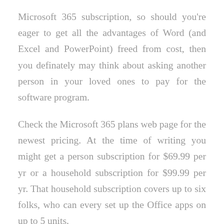Microsoft 365 subscription, so should you're eager to get all the advantages of Word (and Excel and PowerPoint) freed from cost, then you definately may think about asking another person in your loved ones to pay for the software program.
Check the Microsoft 365 plans web page for the newest pricing. At the time of writing you might get a person subscription for $69.99 per yr or a household subscription for $99.99 per yr. That household subscription covers up to six folks, who can every set up the Office apps on up to 5 units.
You might have to use your powers of persuasion to absolutely the most to get a relative to pay for you to entry Microsoft Office with out paying something—however you might need a very beneficiant household round you, or you